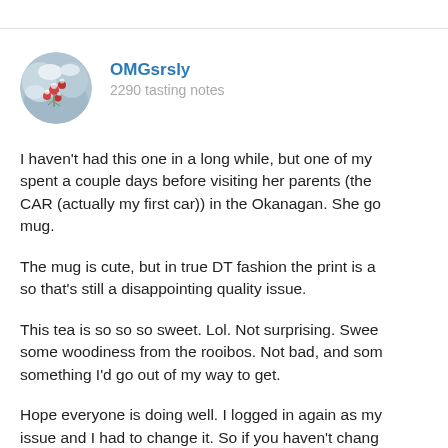[Figure (photo): Circular avatar photo of snow-dusted berries or flowers, used as user profile picture]
OMGsrsly
2290 tasting notes
I haven't had this one in a long while, but one of my spent a couple days before visiting her parents (the CAR (actually my first car)) in the Okanagan. She go mug.
The mug is cute, but in true DT fashion the print is a so that's still a disappointing quality issue.
This tea is so so so sweet. Lol. Not surprising. Swee some woodiness from the rooibos. Not bad, and som something I'd go out of my way to get.
Hope everyone is doing well. I logged in again as my issue and I had to change it. So if you haven't chang to.